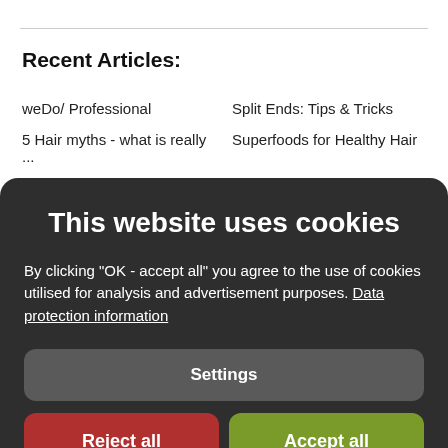Recent Articles:
weDo/ Professional
Split Ends: Tips & Tricks
5 Hair myths - what is really ...
Superfoods for Healthy Hair
This website uses cookies
By clicking "OK - accept all" you agree to the use of cookies utilised for analysis and advertisement purposes. Data protection information
Settings
Reject all
Accept all